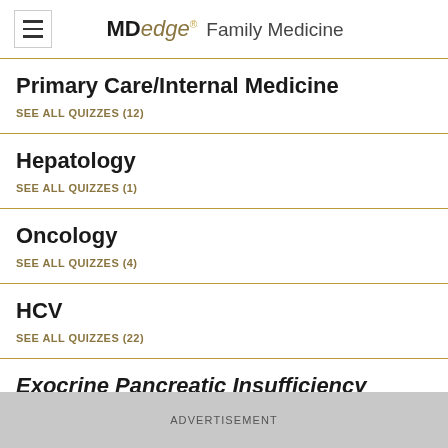MDedge® Family Medicine
Primary Care/Internal Medicine
SEE ALL QUIZZES (12)
Hepatology
SEE ALL QUIZZES (1)
Oncology
SEE ALL QUIZZES (4)
HCV
SEE ALL QUIZZES (22)
Exocrine Pancreatic Insufficiency
ADVERTISEMENT